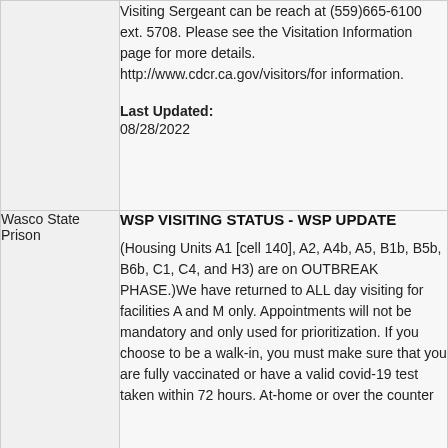Visiting Sergeant can be reach at (559)665-6100 ext. 5708. Please see the Visitation Information page for more details. http://www.cdcr.ca.gov/visitors/for information.
Last Updated: 08/28/2022
Wasco State Prison
WSP VISITING STATUS - WSP UPDATE
(Housing Units A1 [cell 140], A2, A4b, A5, B1b, B5b, B6b, C1, C4, and H3) are on OUTBREAK PHASE.)We have returned to ALL day visiting for facilities A and M only. Appointments will not be mandatory and only used for prioritization. If you choose to be a walk-in, you must make sure that you are fully vaccinated or have a valid covid-19 test taken within 72 hours. At-home or over the counter